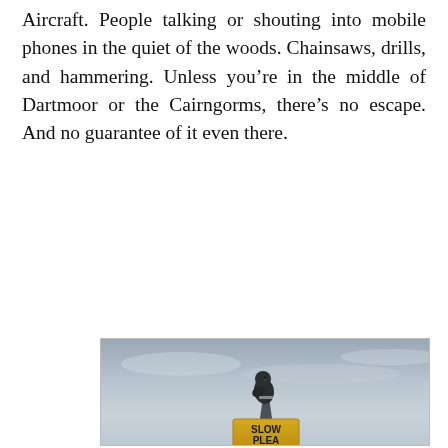Aircraft. People talking or shouting into mobile phones in the quiet of the woods. Chainsaws, drills, and hammering. Unless you're in the middle of Dartmoor or the Cairngorms, there's no escape. And no guarantee of it even there.
[Figure (photo): A bird (crow or rook) perched on top of a road sign that reads 'SLOW PLEASE', photographed against an overcast grey sky.]